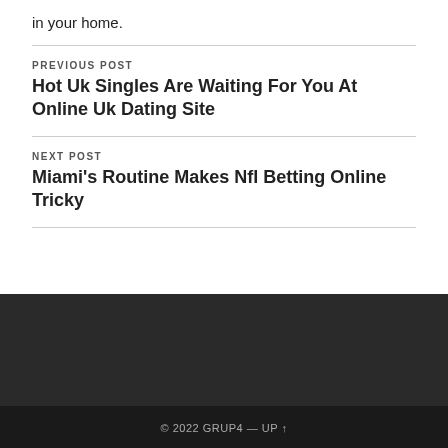in your home.
PREVIOUS POST
Hot Uk Singles Are Waiting For You At Online Uk Dating Site
NEXT POST
Miami's Routine Makes Nfl Betting Online Tricky
© 2022 GRUP4 — UP ↑